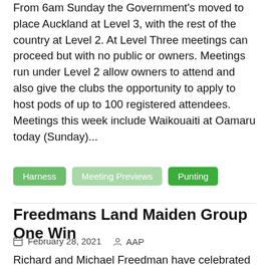From 6am Sunday the Government's moved to place Auckland at Level 3, with the rest of the country at Level 2. At Level Three meetings can proceed but with no public or owners. Meetings run under Level 2 allow owners to attend and also give the clubs the opportunity to apply to host pods of up to 100 registered attendees. Meetings this week include Waikouaiti at Oamaru today (Sunday)...
Harness
Meeting Previews
Punting
Freedmans Land Maiden Group One Win
February 28, 2021   AAP
Richard and Michael Freedman have celebrated their first Group One win as a training partnership with Forbidden Love's emphatic Surround Stakes victory. The milestone has continued the brothers' outstanding start to the autumn with Stay Inside emerging as a leading Golden Slipper chance while three-year-old Prime Star has been racing well in top